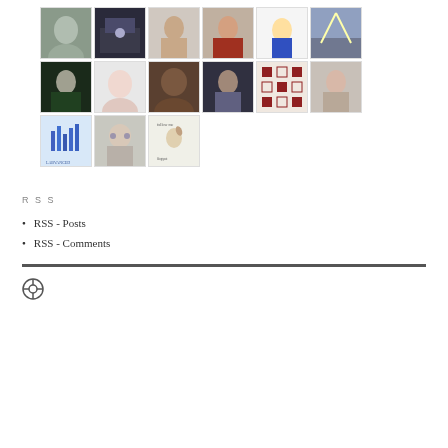[Figure (photo): Grid of 15 avatar/profile images arranged in 3 rows: row 1 has 7 images (metallic face, street scene, man portrait, girl in red, cartoon character, landscape/structure, hooded figure), row 2 has 7 images (baby face, man close-up, man in tshirt, pixel art pattern, woman portrait, audio waveform logo, man with glasses), row 3 has 1 image (meme/illustration with rabbit)]
RSS
RSS - Posts
RSS - Comments
[Figure (logo): WordPress circular logo icon]